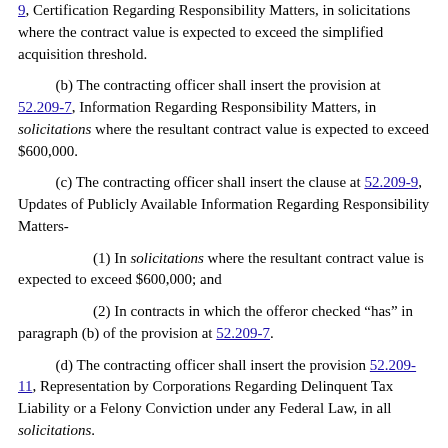9, Certification Regarding Responsibility Matters, in solicitations where the contract value is expected to exceed the simplified acquisition threshold.
(b) The contracting officer shall insert the provision at 52.209-7, Information Regarding Responsibility Matters, in solicitations where the resultant contract value is expected to exceed $600,000.
(c) The contracting officer shall insert the clause at 52.209-9, Updates of Publicly Available Information Regarding Responsibility Matters-
(1) In solicitations where the resultant contract value is expected to exceed $600,000; and
(2) In contracts in which the offeror checked "has" in paragraph (b) of the provision at 52.209-7.
(d) The contracting officer shall insert the provision 52.209-11, Representation by Corporations Regarding Delinquent Tax Liability or a Felony Conviction under any Federal Law, in all solicitations.
(e) For agencies receiving funds subject to section 523 of Division B of the Consolidated and Further Continuing Appropriations Act, 2015 (Pub. L. 113-235) and similar provisions